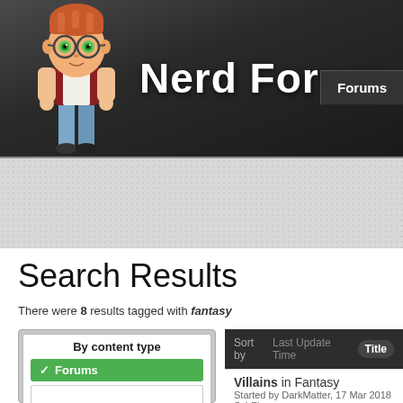Nerd Forum
Forums
Search Results
There were 8 results tagged with fantasy
By content type
Forums
Sort by  Last Update Time  Title
Villains in Fantasy
Started by DarkMatter, 17 Mar 2018
Sci-Fi